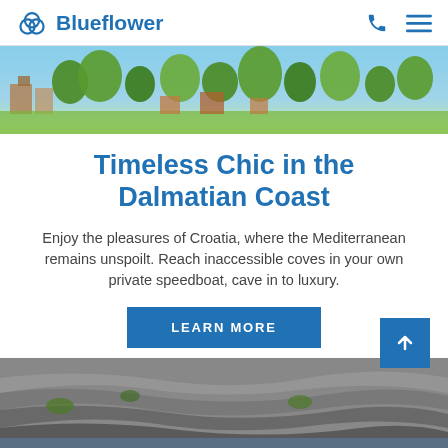Blueflower
[Figure (photo): Aerial view of Mediterranean coastal town with green trees and terracotta rooftops]
Timeless Chic in the Dalmatian Coast
Enjoy the pleasures of Croatia, where the Mediterranean remains unspoilt. Reach inaccessible coves in your own private speedboat, cave in to luxury.
LEARN MORE
[Figure (photo): Rocky coastal cliffs with stratified rock layers and blue sea in background]